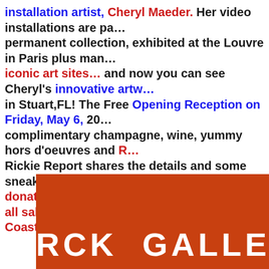installation artist, Cheryl Maeder. Her video installations are part of the permanent collection, exhibited at the Louvre in Paris plus many other iconic art sites… and now you can see Cheryl's innovative artworks in Stuart,FL!  The Free Opening Reception on Friday, May 6, 202… complimentary champagne, wine, yummy hors d'oeuvres and R… Rickie Report shares the details and some sneak peeks.  RCK G… donations and the Gallery will donate 25% of all sales to the YM… Coast.
[Figure (logo): Orange/red background with white bold text reading 'RCK GALLE' (RCK Gallery logo, partially visible)]